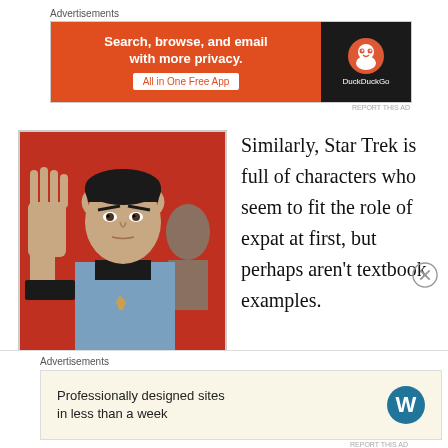Advertisements
[Figure (other): DuckDuckGo advertisement banner: orange panel with text 'Search, browse, and email with more privacy. All in One Free App' and black panel with DuckDuckGo logo]
[Figure (photo): Photo of Mr. Spock (Leonard Nimoy) from Star Trek giving the Vulcan salute, wearing blue uniform against red background]
Similarly, Star Trek is full of characters who seem to fit the role of expat at first, but perhaps aren't textbook examples. We have characters like Quark on Deep Space Nine, and Worf on board
Advertisements
[Figure (other): WordPress advertisement banner: cream background with text 'Professionally designed sites in less than a week' and WordPress logo]